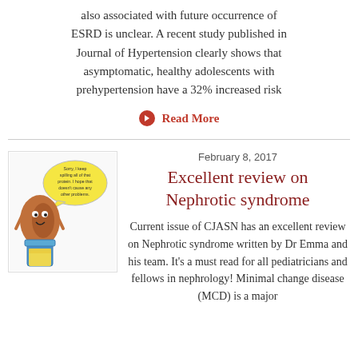also associated with future occurrence of ESRD is unclear. A recent study published in Journal of Hypertension clearly shows that asymptomatic, healthy adolescents with prehypertension have a 32% increased risk
Read More
February 8, 2017
Excellent review on Nephrotic syndrome
[Figure (illustration): Cartoon illustration of a kidney character next to a urine sample jar with a speech bubble]
Current issue of CJASN has an excellent review on Nephrotic syndrome written by Dr Emma and his team. It’s a must read for all pediatricians and fellows in nephrology! Minimal change disease (MCD) is a major